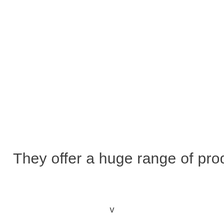They offer a huge range of products that
v